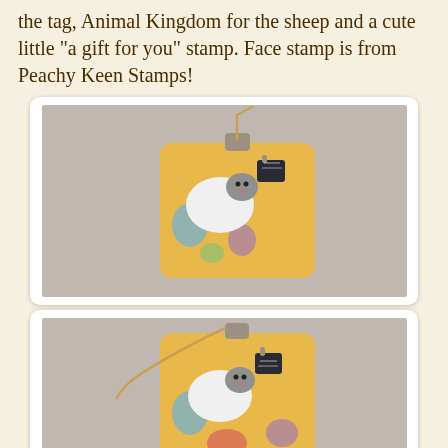the tag, Animal Kingdom for the sheep and a cute little "a gift for you" stamp. Face stamp is from Peachy Keen Stamps!
[Figure (photo): Photo of a handmade gift tag with yellow Animal Kingdom patterned paper, a white sheep craft embellishment with a gray face, and a small dark tag, shown from the front. A twine string is attached at the top.]
[Figure (photo): Photo of the same handmade gift tag from a different angle, showing the back/side with the twine string hanging to the left, and the sheep embellishment visible on the yellow patterned tag.]